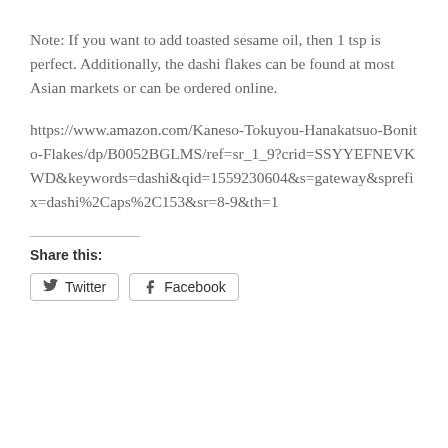Note: If you want to add toasted sesame oil, then 1 tsp is perfect. Additionally, the dashi flakes can be found at most Asian markets or can be ordered online.
https://www.amazon.com/Kaneso-Tokuyou-Hanakatsuo-Bonito-Flakes/dp/B0052BGLMS/ref=sr_1_9?crid=SSYYEFNEVKWD&keywords=dashi&qid=1559230604&s=gateway&sprefix=dashi%2Caps%2C153&sr=8-9&th=1
Share this:
Twitter   Facebook